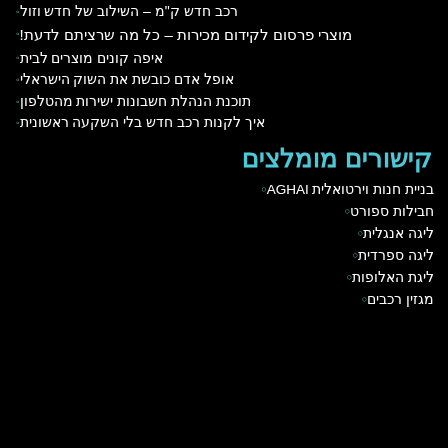רכב חדש ק"מ – השילוב של חדש וזול
מוצרי פרסום לקידום מכירות – כל מה שרציתם לדעת!
איפה קונים מוצרים לבית
אופל אדם כובשת את השוק הישראלי
תוכנת הנהלת חשבונות ישירות מהטלפון
איך לקנות רכב חדש בלי השקעה ראשונית
קישורים מומלצים
בניית חנות וירטואלית AGHAI
חבילות ספורט
ליגה אנגלית
ליגה ספרדית
ליגת האלופות
מגזין רכבים